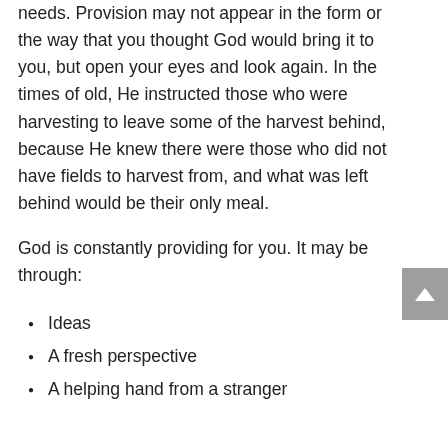needs. Provision may not appear in the form or the way that you thought God would bring it to you, but open your eyes and look again. In the times of old, He instructed those who were harvesting to leave some of the harvest behind, because He knew there were those who did not have fields to harvest from, and what was left behind would be their only meal.
God is constantly providing for you. It may be through:
Ideas
A fresh perspective
A helping hand from a stranger